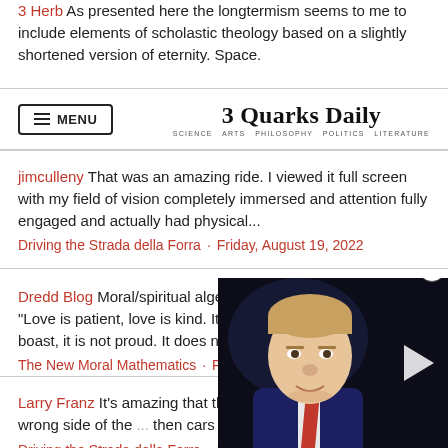3 Herb As presented here the longtermism seems to me to include elements of scholastic theology based on a slightly shortened version of eternity. Space.
3 Quarks Daily — SCIENCE ARTS PHILOSOPHY POLITICS LITERATURE
jimculleny That was an amazing ride. I viewed it full screen with my field of vision completely immersed and attention fully engaged and actually had physical...
Driving the Strada della Forra · Friday, August 19, 2022
Dredd Blog Moral/spiritual algebra: "God is love" (I Jo 4:16) "Love is patient, love is kind. It does not envy, it does not boast, it is not proud. It does not...
The New Moral Mathematics · Friday, August 19, 2022
Larry Franz It's amazing that this was... sharp turns on the wrong side of the ... then cars going the...
Driving the Strada della Forra · Frida...
[Figure (photo): Video overlay showing a man (Donald Trump) in a dark suit and red tie against a dark background, with a play button on the right side and a close button (X) at the top right.]